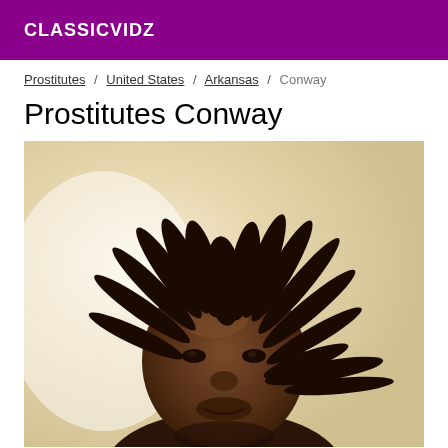CLASSICVIDZ
Prostitutes / United States / Arkansas / Conway
Prostitutes Conway
[Figure (photo): Close-up selfie photo of a person with dreadlocks against a light-colored background]